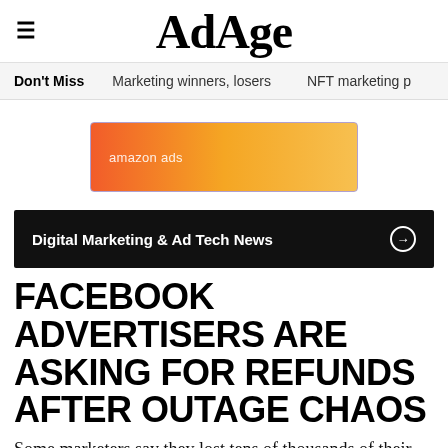AdAge
Don't Miss   Marketing winners, losers   NFT marketing p
[Figure (illustration): Amazon Ads banner advertisement with orange-to-yellow gradient background and 'amazon ads' text with smile logo in white]
Digital Marketing & Ad Tech News →
FACEBOOK ADVERTISERS ARE ASKING FOR REFUNDS AFTER OUTAGE CHAOS
Some marketers say they lost tens of thousands of their clients' dollars when the social network went